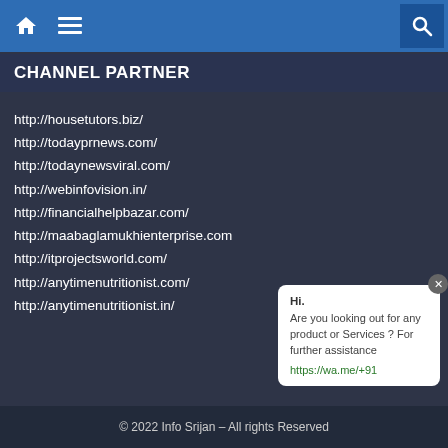Home Menu Search
CHANNEL PARTNER
http://housetutors.biz/
http://todayprnews.com/
http://todaynewsviral.com/
http://webinfovision.in/
http://financialhelpbazar.com/
http://maabaglamukhienterprise.com
http://itprojectsworld.com/
http://anytimenutritionist.com/
http://anytimenutritionist.in/
Hi. Are you looking out for any product or Services ? For further assistance https://wa.me/+91
© 2022 Info Srijan – All rights Reserved